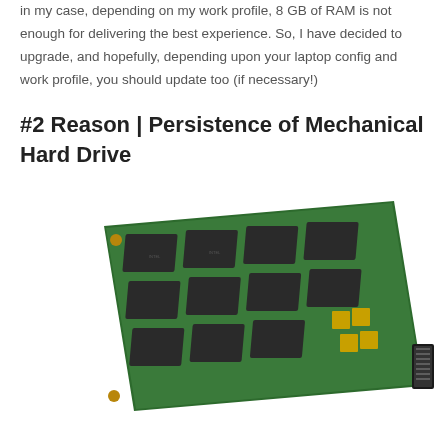in my case, depending on my work profile, 8 GB of RAM is not enough for delivering the best experience. So, I have decided to upgrade, and hopefully, depending upon your laptop config and work profile, you should update too (if necessary!)
#2 Reason | Persistence of Mechanical Hard Drive
[Figure (photo): Photo of a solid-state drive (SSD) circuit board with memory chips arranged in a grid, gold capacitors, and a SATA connector on the right, viewed at an angle on a white background.]